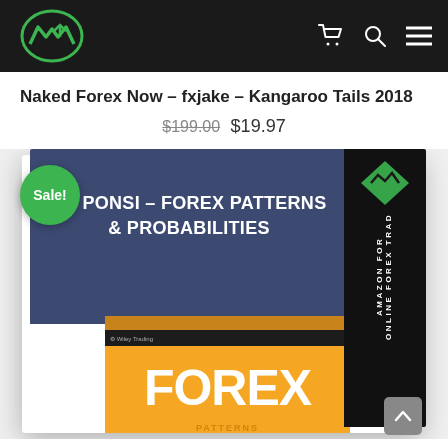Navigation bar with logo, cart, search, and menu icons
Naked Forex Now – fxjake – Kangaroo Tails 2018
$199.00 $19.97
[Figure (photo): Product image showing a book cover for 'ED PONSI – FOREX PATTERNS & PROBABILITIES' with blue-gray top section and orange bottom section. A green 'Sale!' badge is on the upper left. A black right sidebar shows Amazon Forex logo with rotated text.]